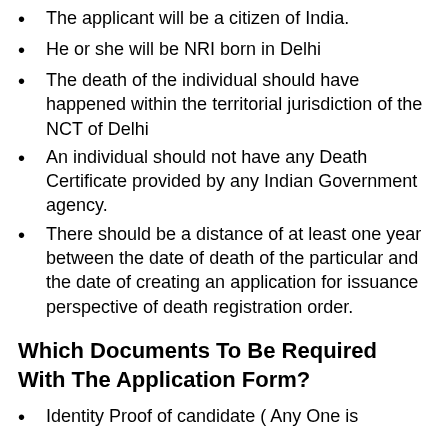The applicant will be a citizen of India.
He or she will be NRI born in Delhi
The death of the individual should have happened within the territorial jurisdiction of the NCT of Delhi
An individual should not have any Death Certificate provided by any Indian Government agency.
There should be a distance of at least one year between the date of death of the particular and the date of creating an application for issuance perspective of death registration order.
Which Documents To Be Required With The Application Form?
Identity Proof of candidate ( Any One is